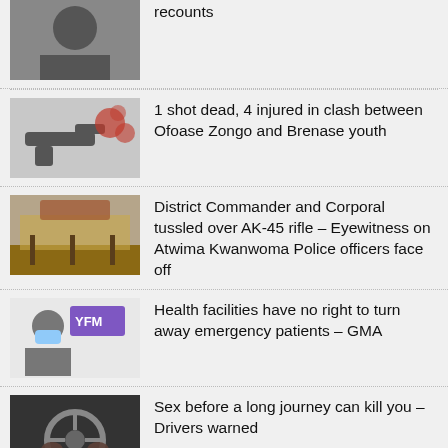recounts
1 shot dead, 4 injured in clash between Ofoase Zongo and Brenase youth
District Commander and Corporal tussled over AK-45 rifle – Eyewitness on Atwima Kwanwoma Police officers face off
Health facilities have no right to turn away emergency patients – GMA
Sex before a long journey can kill you – Drivers warned
Big Ivy and Mummy Dolarz' Ghana-Naija beef intensifies
More bribes are paid at health institutions – GII Prog. Dir.